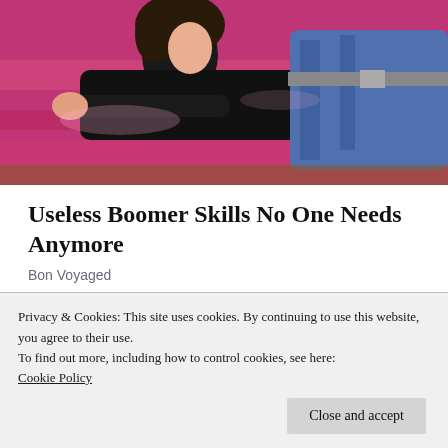[Figure (photo): A woman in a black top lying on a pink/magenta satin couch, with another person in jeans visible. The image is cropped to show primarily the upper portion.]
Useless Boomer Skills No One Needs Anymore
Bon Voyaged
[Figure (photo): Partially visible image below the article title, showing people, cropped at the bottom by a cookie consent banner.]
Privacy & Cookies: This site uses cookies. By continuing to use this website, you agree to their use.
To find out more, including how to control cookies, see here: Cookie Policy
Close and accept